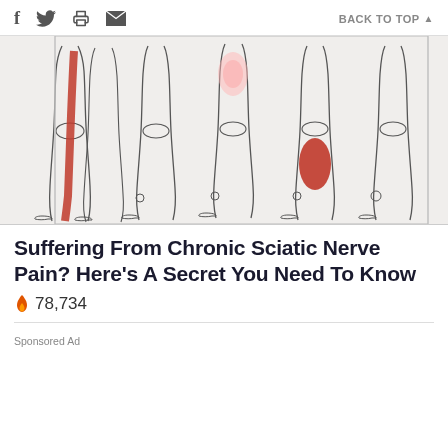f  [twitter]  [print]  [email]  BACK TO TOP ▲
[Figure (illustration): Medical illustration showing multiple pairs of human legs in outline/line-art style, with red highlighted areas indicating sciatic nerve pain locations — one pair shows a red stripe along the entire back of the left leg, another shows a red patch on the lower calf area, and another shows a pink/light red shaded area near the hip/upper thigh region.]
Suffering From Chronic Sciatic Nerve Pain? Here's A Secret You Need To Know
🔥 78,734
Sponsored Ad